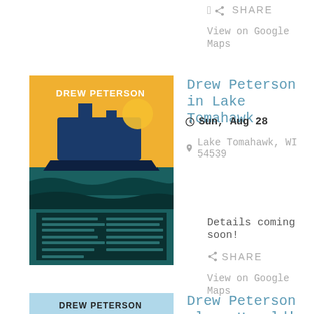SHARE
View on Google Maps
[Figure (illustration): Drew Peterson event poster with ship and colorful artwork on yellow/teal background]
Drew Peterson in Lake Tomahawk
Sun, Aug 28
Lake Tomahawk, WI 54539
Details coming soon!
SHARE
View on Google Maps
[Figure (illustration): Drew Peterson event poster with blue/teal theme and Harold's House Party artwork]
Drew Peterson plays Harold's House Party
Wed, Aug 31
331 Club, 331 13th Ave NE,